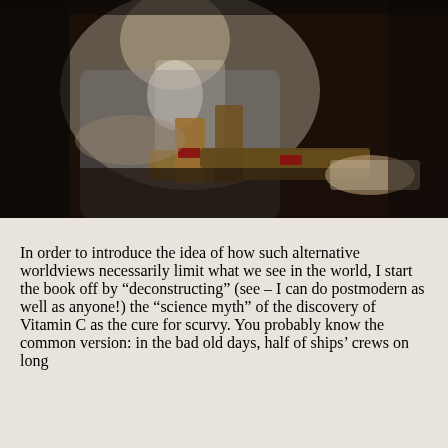[Figure (illustration): Classical painting of a gentleman in 18th-century attire (grey coat, white ruffled shirt, dotted/patterned waistcoat with buttons) leaning on a stack of leather-bound books on a dark table, one hand resting on an open book to the right.]
In order to introduce the idea of how such alternative worldviews necessarily limit what we see in the world, I start the book off by “deconstructing” (see – I can do postmodern as well as anyone!) the “science myth” of the discovery of Vitamin C as the cure for scurvy. You probably know the common version: in the bad old days, half of ships’ crews on long